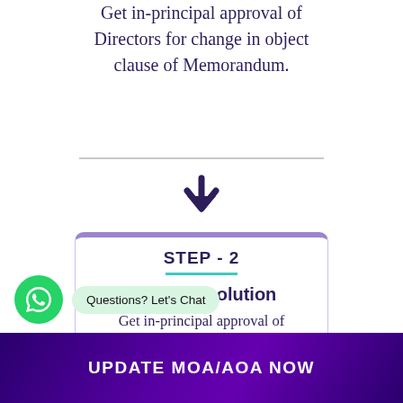Get in-principal approval of Directors for change in object clause of Memorandum.
[Figure (infographic): Down arrow divider between steps]
STEP - 2
Board Resolution
Get in-principal approval of
Questions? Let's Chat
UPDATE MOA/AOA NOW